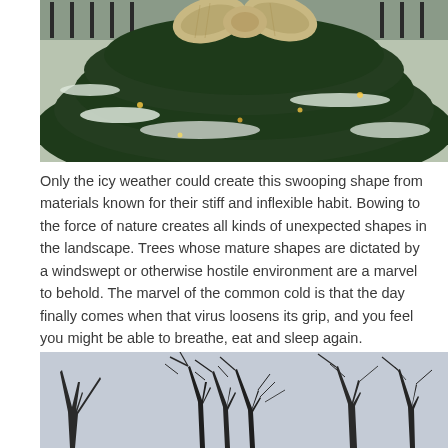[Figure (photo): Close-up photo of snow-covered evergreen tree branches with a burlap or twine bow/ribbon decoration at the top, and warm lights visible among the branches. A fence is visible in the background.]
Only the icy weather could create this swooping shape from materials known for their stiff and inflexible habit.  Bowing to the force of nature creates all kinds of unexpected shapes in the landscape.  Trees whose mature shapes are dictated by a windswept or otherwise hostile environment are a marvel to behold.  The marvel of the common cold is that the day finally comes when that virus loosens its grip, and you feel you might be able to breathe, eat and sleep again.
[Figure (photo): Photo of bare winter tree branches silhouetted against a pale grey sky, showing intricate branching patterns without leaves.]